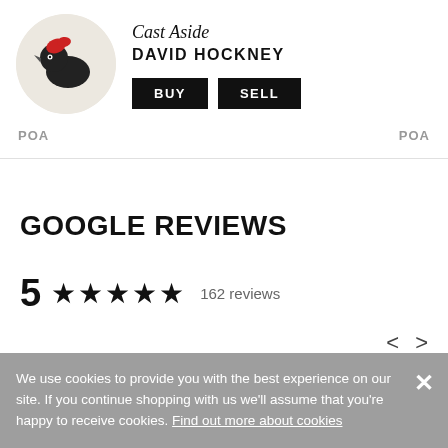[Figure (illustration): Circular artwork thumbnail showing a bird illustration (black bird with red coloring) for 'Cast Aside' by David Hockney]
Cast Aside
DAVID HOCKNEY
BUY   SELL
POA   POA
GOOGLE REVIEWS
5  ★★★★★  162 reviews
Tom Groves
We use cookies to provide you with the best experience on our site. If you continue shopping with us we'll assume that you're happy to receive cookies. Find out more about cookies